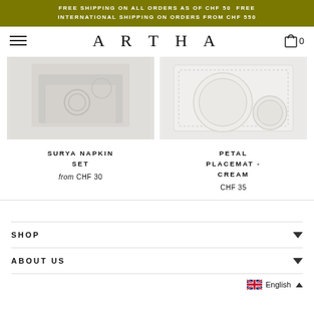FREE SHIPPING ON ALL ORDERS AS OF CHF 50  FREE INTERNATIONAL SHIPPING ON ORDERS FROM CHF 550
ARTHA
[Figure (photo): Product photo of Surya Napkin Set — folded grey/white linen napkins with circular embossed detail]
SURYA NAPKIN SET
from CHF 30
[Figure (photo): Product photo of Petal Placemat Cream — white embroidered placemat with plate and small dish on top]
PETAL PLACEMAT - CREAM
CHF 35
SHOP
ABOUT US
English